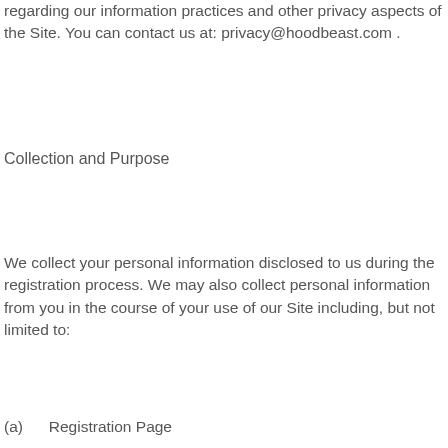regarding our information practices and other privacy aspects of the Site. You can contact us at: privacy@hoodbeast.com .
Collection and Purpose
We collect your personal information disclosed to us during the registration process. We may also collect personal information from you in the course of your use of our Site including, but not limited to:
(a)      Registration Page